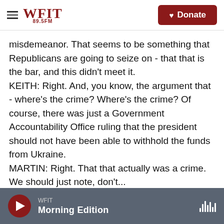WFIT 89.5FM | Donate
misdemeanor. That seems to be something that Republicans are going to seize on - that that is the bar, and this didn't meet it.
KEITH: Right. And, you know, the argument that - where's the crime? Where's the crime? Of course, there was just a Government Accountability Office ruling that the president should not have been able to withhold the funds from Ukraine.
MARTIN: Right. That that actually was a crime. We should just note, don't...
WFIT Morning Edition